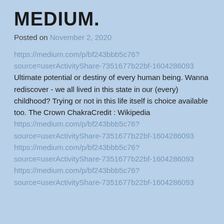MEDIUM.
Posted on November 2, 2020
https://medium.com/p/bf243bbb5c76?source=userActivityShare-7351677b22bf-1604286093 Ultimate potential or destiny of every human being. Wanna rediscover - we all lived in this state in our (every) childhood? Trying or not in this life itself is choice available too. The Crown ChakraCredit : Wikipedia https://medium.com/p/bf243bbb5c76?source=userActivityShare-7351677b22bf-1604286093 https://medium.com/p/bf243bbb5c76?source=userActivityShare-7351677b22bf-1604286093 https://medium.com/p/bf243bbb5c76?source=userActivityShare-7351677b22bf-1604286093